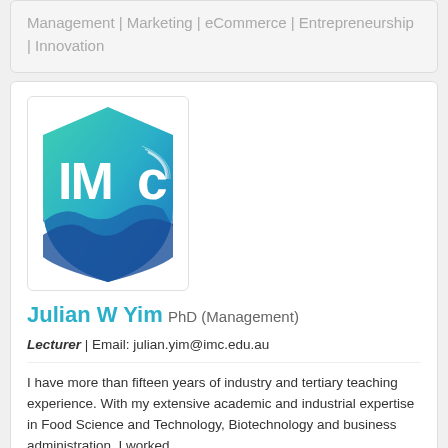Management | Marketing | eCommerce | Entrepreneurship | Innovation
[Figure (logo): IMC university shield logo with teal/blue gradient and wave design]
Julian W Yim PhD (Management)
Lecturer | Email: julian.yim@imc.edu.au
I have more than fifteen years of industry and tertiary teaching experience. With my extensive academic and industrial expertise in Food Science and Technology, Biotechnology and business administration, I worked